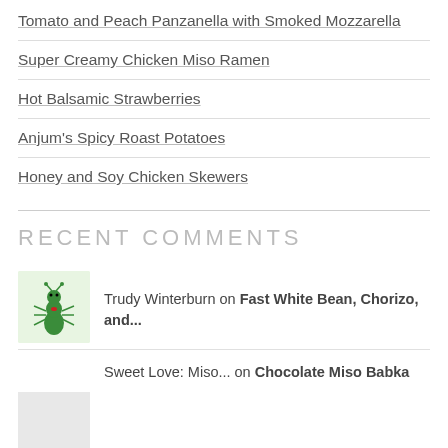Tomato and Peach Panzanella with Smoked Mozzarella
Super Creamy Chicken Miso Ramen
Hot Balsamic Strawberries
Anjum's Spicy Roast Potatoes
Honey and Soy Chicken Skewers
RECENT COMMENTS
Trudy Winterburn on Fast White Bean, Chorizo, and...
Sweet Love: Miso... on Chocolate Miso Babka
Simple vegan winter... on Rosemary Butternut Squash Soup...
800° WOODFIRED KITCH... on Grilled Vegetable Paella